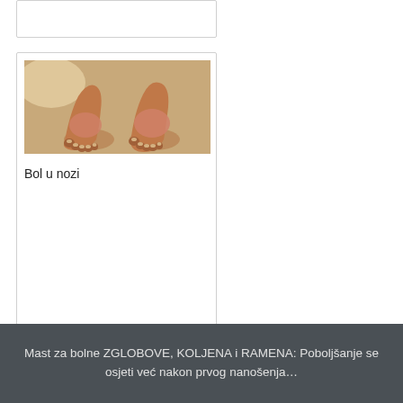[Figure (photo): Photograph of two swollen feet/ankles standing on a wooden floor, viewed from above. The feet show redness and swelling around the ankle area.]
Bol u nozi
Mast za bolne ZGLOBOVE, KOLJENA i RAMENA: Poboljšanje se osjeti već nakon prvog nanošenja…